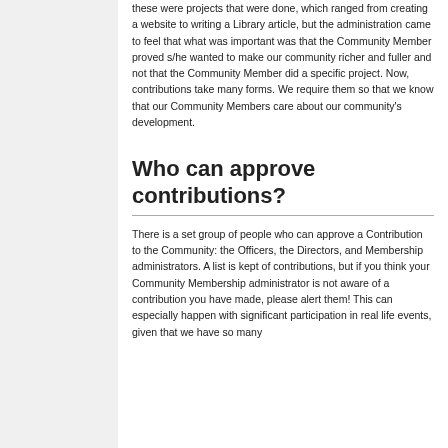these were projects that were done, which ranged from creating a website to writing a Library article, but the administration came to feel that what was important was that the Community Member proved s/he wanted to make our community richer and fuller and not that the Community Member did a specific project. Now, contributions take many forms. We require them so that we know that our Community Members care about our community's development.
Who can approve contributions?
There is a set group of people who can approve a Contribution to the Community: the Officers, the Directors, and Membership administrators. A list is kept of contributions, but if you think your Community Membership administrator is not aware of a contribution you have made, please alert them! This can especially happen with significant participation in real life events, given that we have so many